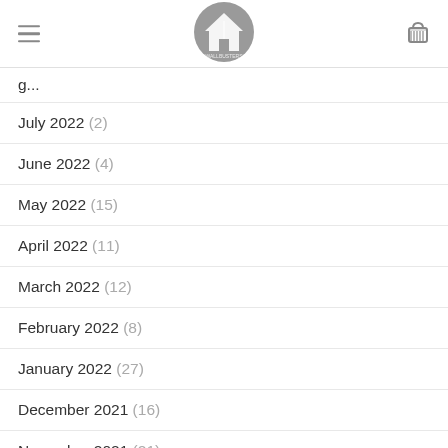Wallbusters logo header with hamburger menu and cart icon
July 2022 (2)
June 2022 (4)
May 2022 (15)
April 2022 (11)
March 2022 (12)
February 2022 (8)
January 2022 (27)
December 2021 (16)
November 2021 (21)
October 2021 (21)